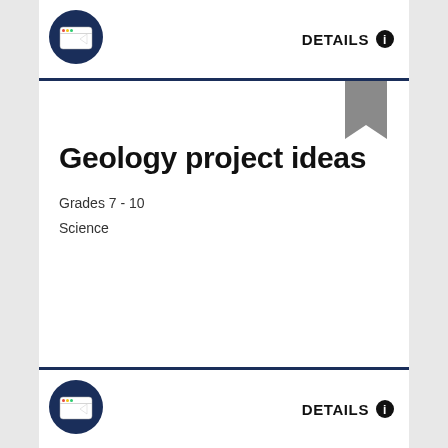[Figure (logo): Browser/external link icon in dark navy circle, top bar]
DETAILS ℹ
[Figure (illustration): Gray bookmark ribbon icon in top-right of card]
Geology project ideas
Grades 7 - 10
Science
[Figure (logo): Browser/external link icon in dark navy circle, bottom bar]
DETAILS ℹ